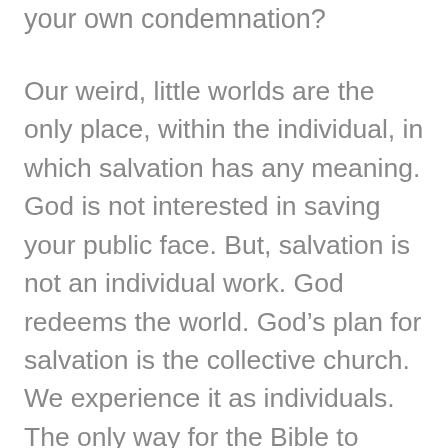your own condemnation?
Our weird, little worlds are the only place, within the individual, in which salvation has any meaning. God is not interested in saving your public face. But, salvation is not an individual work. God redeems the world. God's plan for salvation is the collective church. We experience it as individuals. The only way for the Bible to make known God's divine salvation is to discover its individual humanity. We need to know the humanity of Jesus. We need to know the humanity of its authors and its audience. And we need to know yours. Every sermon, every bible study, every interaction at the church should be a